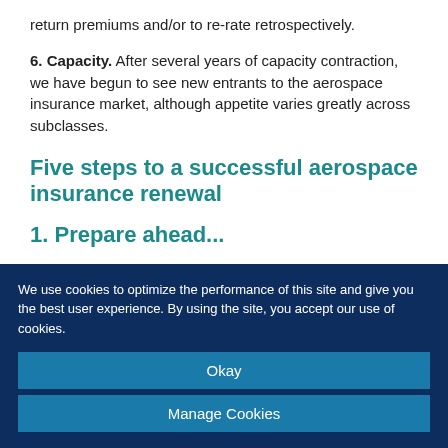return premiums and/or to re-rate retrospectively.
6. Capacity. After several years of capacity contraction, we have begun to see new entrants to the aerospace insurance market, although appetite varies greatly across subclasses.
Five steps to a successful aerospace insurance renewal
1. Prepare ahead...
We use cookies to optimize the performance of this site and give you the best user experience. By using the site, you accept our use of cookies.
Okay
Manage Cookies